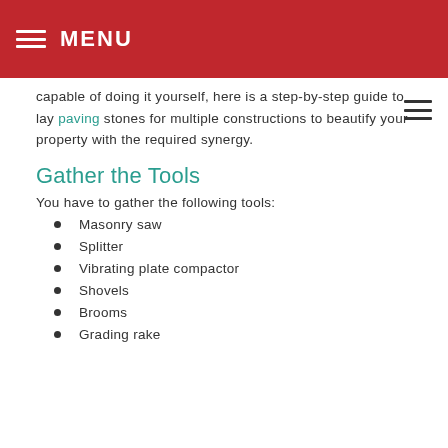MENU
capable of doing it yourself, here is a step-by-step guide to lay paving stones for multiple constructions to beautify your property with the required synergy.
Gather the Tools
You have to gather the following tools:
Masonry saw
Splitter
Vibrating plate compactor
Shovels
Brooms
Grading rake